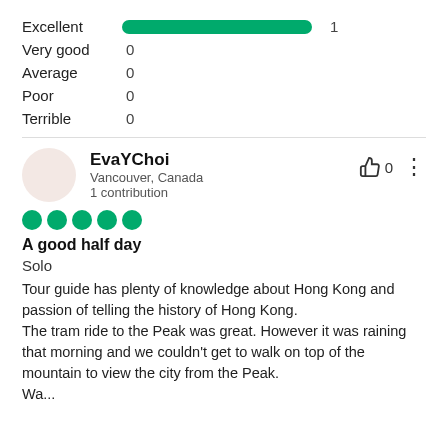[Figure (bar-chart): Rating distribution]
EvaYChoi
Vancouver, Canada
1 contribution
A good half day
Solo
Tour guide has plenty of knowledge about Hong Kong and passion of telling the history of Hong Kong.
The tram ride to the Peak was great. However it was raining that morning and we couldn't get to walk on top of the mountain to view the city from the Peak.
Wa...